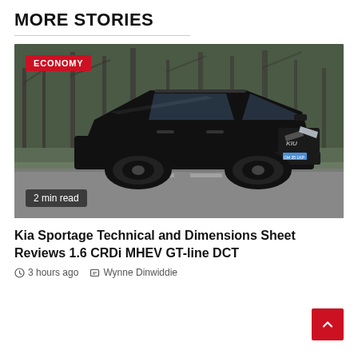MORE STORIES
[Figure (photo): Black Kia Sportage SUV driving on a road with trees in the background. Badge overlay: ECONOMY (top left), 2 min read (bottom left).]
Kia Sportage Technical and Dimensions Sheet Reviews 1.6 CRDi MHEV GT-line DCT
3 hours ago   Wynne Dinwiddie